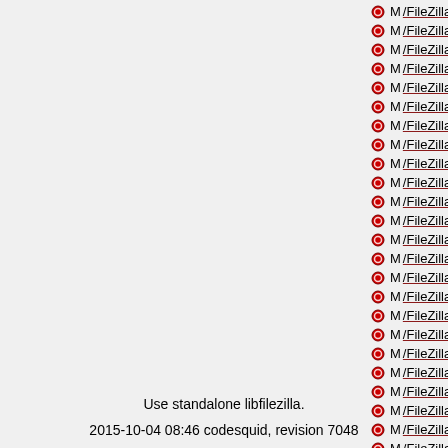M /FileZilla3/trunk/Makefile.am
M /FileZilla3/trunk/src/engine/ControlSocket...
M /FileZilla3/trunk/src/engine/directoryca...
M /FileZilla3/trunk/src/engine/enginepriv...
M /FileZilla3/trunk/src/engine/enginepriv...
M /FileZilla3/trunk/src/engine/engine_co...
M /FileZilla3/trunk/src/engine/ftpcontrols...
M /FileZilla3/trunk/src/engine/iothread.cp...
M /FileZilla3/trunk/src/engine/iothread.h
M /FileZilla3/trunk/src/engine/logging_pr...
M /FileZilla3/trunk/src/engine/Makefile.a...
M /FileZilla3/trunk/src/engine/misc.cpp
M /FileZilla3/trunk/src/engine/pathcache...
M /FileZilla3/trunk/src/engine/ratelimiter....
M /FileZilla3/trunk/src/engine/sftpcontrol...
M /FileZilla3/trunk/src/engine/socket.cpp...
M /FileZilla3/trunk/src/engine/transferso...
M /FileZilla3/trunk/src/include/directorylis...
M /FileZilla3/trunk/src/include/libfilezilla_...
M /FileZilla3/trunk/src/include/notification...
M /FileZilla3/trunk/src/include/socket.h
M /FileZilla3/trunk/src/interface/Makefile...
M /FileZilla3/trunk/src/interface/netconfw...
M /FileZilla3/trunk/src/interface/Options....
Use standalone libfilezilla.
2015-10-04 08:46 codesquid, revision 7048